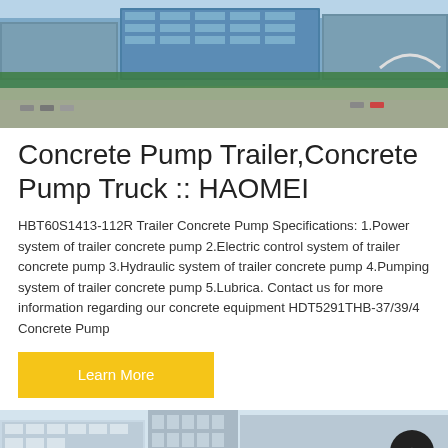[Figure (photo): Aerial view of a large industrial/commercial campus with multi-storey blue-glass buildings, parking lots, trees, and roads.]
Concrete Pump Trailer,Concrete Pump Truck :: HAOMEI
HBT60S1413-112R Trailer Concrete Pump Specifications: 1.Power system of trailer concrete pump 2.Electric control system of trailer concrete pump 3.Hydraulic system of trailer concrete pump 4.Pumping system of trailer concrete pump 5.Lubrica. Contact us for more information regarding our concrete equipment HDT5291THB-37/39/4 Concrete Pump
Learn More
[Figure (photo): Partial view of a modern building facade with glass windows, partially cropped at the bottom of the page.]